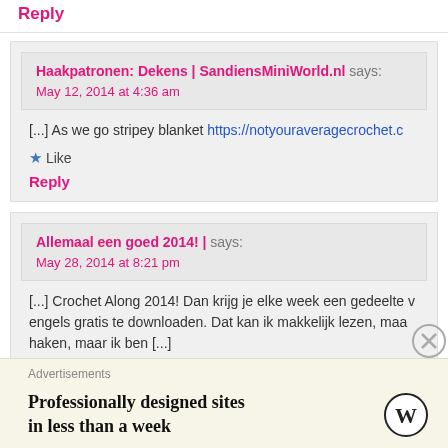Reply
Haakpatronen: Dekens | SandiensMiniWorld.nl says:
May 12, 2014 at 4:36 am
[...] As we go stripey blanket https://notyouraveragecrochet.c
Like
Reply
Allemaal een goed 2014! | says:
May 28, 2014 at 8:21 pm
[...] Crochet Along 2014! Dan krijg je elke week een gedeelte v engels gratis te downloaden. Dat kan ik makkelijk lezen, maa haken, maar ik ben [...]
Advertisements
Professionally designed sites in less than a week